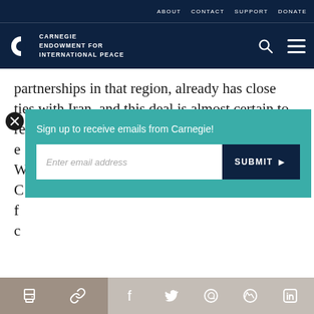ABOUT   CONTACT   SUPPORT   DONATE
[Figure (logo): Carnegie Endowment for International Peace logo with circular icon and white text on dark navy background, with search and menu icons]
partnerships in that region, already has close ties with Iran, and this deal is almost certain to result in an e
[Figure (screenshot): Email signup popup overlay on teal background: 'Sign up to receive emails from Carnegie!' with email input field and SUBMIT button]
reimposition of such sanctions are also likely to grow commensurately.
Share icons: print, link, Facebook, Twitter, WhatsApp, Messenger, LinkedIn